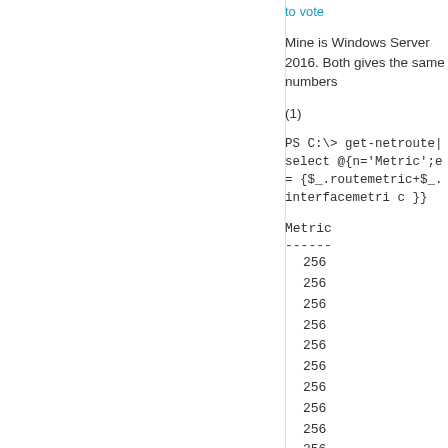to vote
Mine is Windows Server 2016. Both gives the same numbers
(1)
PS C:\> get-netroute|select @{n='Metric';e={$_.routemetric+$_.interfacemetric }}
Metric
------
256
256
256
256
256
256
256
256
256
256